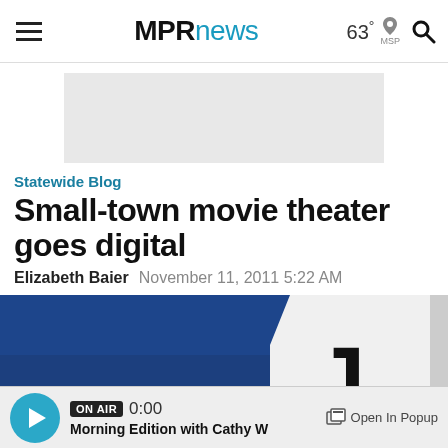MPRnews  63° MSP
[Figure (other): Gray advertisement banner placeholder]
Statewide Blog
Small-town movie theater goes digital
Elizabeth Baier  November 11, 2011 5:22 AM
[Figure (photo): Photo of a movie theater marquee sign against a deep blue sky, showing partial letter J in black on white sign]
ON AIR 0:00 Morning Edition with Cathy W  Open In Popup